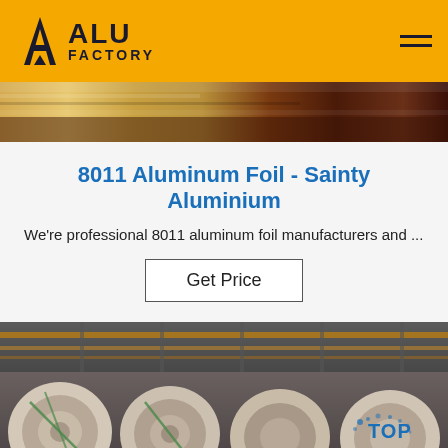ALU FACTORY
[Figure (photo): Close-up of aluminum foil strips in golden/metallic tones at top of page]
8011 Aluminum Foil - Sainty Aluminium
We're professional 8011 aluminum foil manufacturers and ...
Get Price
[Figure (photo): Large aluminum coil rolls inside an industrial warehouse with overhead cranes and steel structure ceiling. TOP badge visible in lower right.]